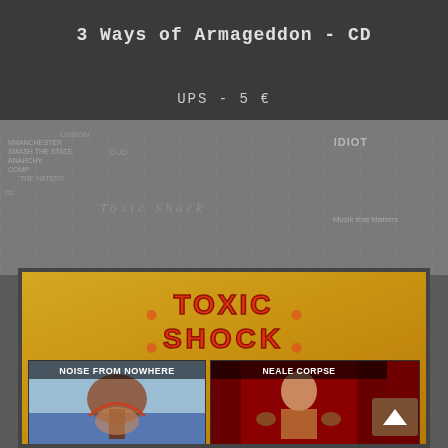3 Ways of Armageddon - CD
UPS - 5 €
[Figure (photo): Album compilation image for Toxic Shock label showing four album covers arranged in a 2x2 grid on a gold/yellow background: top-left 'Noise from Nowhere', top-right 'Neale Corpse', bottom-left 'Red Tide', bottom-right 'Massacre Guys'. The Toxic Shock logo appears at the top in orange/red lettering.]
IDIOT